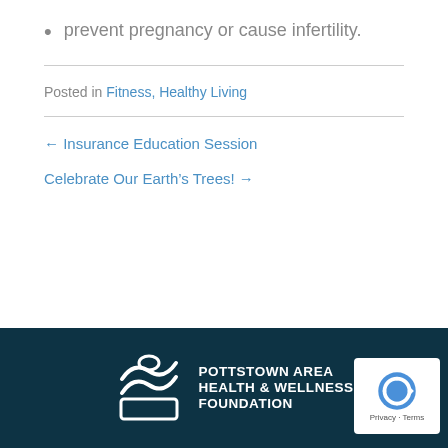prevent pregnancy or cause infertility.
Posted in Fitness, Healthy Living
← Insurance Education Session
Celebrate Our Earth's Trees! →
POTTSTOWN AREA HEALTH & WELLNESS FOUNDATION